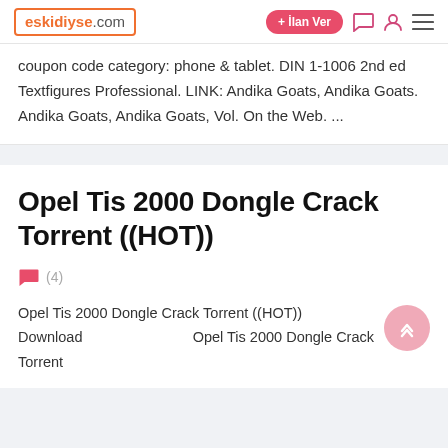eskidiyse.com  + İlan Ver
coupon code category: phone & tablet. DIN 1-1006 2nd ed Textfigures Professional. LINK: Andika Goats, Andika Goats. Andika Goats, Andika Goats, Vol. On the Web. ...
Opel Tis 2000 Dongle Crack Torrent ((HOT))
(4)
Opel Tis 2000 Dongle Crack Torrent ((HOT)) Download          Opel Tis 2000 Dongle Crack Torrent